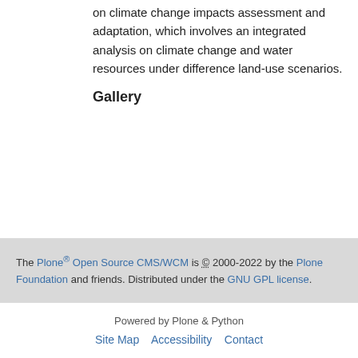on climate change impacts assessment and adaptation, which involves an integrated analysis on climate change and water resources under difference land-use scenarios.
Gallery
The Plone® Open Source CMS/WCM is © 2000-2022 by the Plone Foundation and friends. Distributed under the GNU GPL license.
Powered by Plone & Python
Site Map   Accessibility   Contact